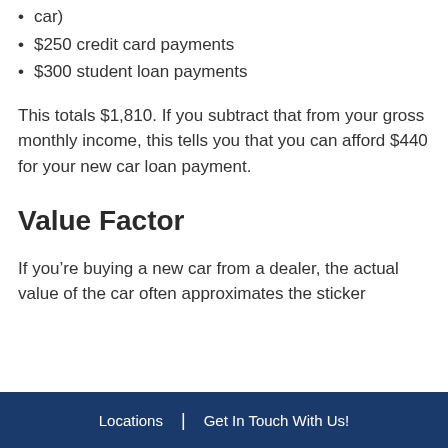car)
$250 credit card payments
$300 student loan payments
This totals $1,810. If you subtract that from your gross monthly income, this tells you that you can afford $440 for your new car loan payment.
Value Factor
If you’re buying a new car from a dealer, the actual value of the car often approximates the sticker
Locations | Get In Touch With Us!